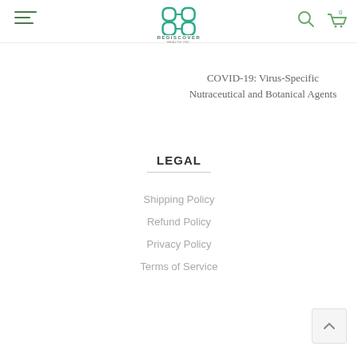Rediscover Health Inc. — Navigation header with hamburger menu, logo, search and cart icons
COVID-19: Virus-Specific Nutraceutical and Botanical Agents
LEGAL
Shipping Policy
Refund Policy
Privacy Policy
Terms of Service